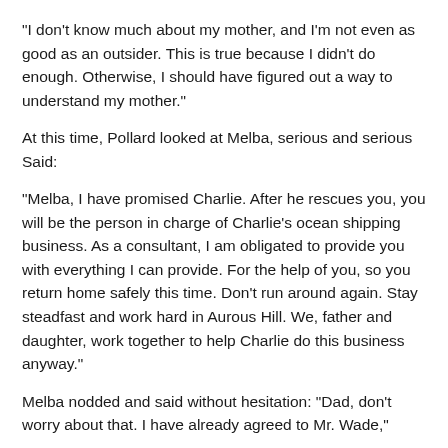“I don’t know much about my mother, and I’m not even as good as an outsider. This is true because I didn’t do enough. Otherwise, I should have figured out a way to understand my mother.”
At this time, Pollard looked at Melba, serious and serious Said:
“Melba, I have promised Charlie. After he rescues you, you will be the person in charge of Charlie’s ocean shipping business. As a consultant, I am obligated to provide you with everything I can provide. For the help of you, so you return home safely this time. Don’t run around again. Stay steadfast and work hard in Aurous Hill. We, father and daughter, work together to help Charlie do this business anyway.”
Melba nodded and said without hesitation: “Dad, don’t worry about that. I have already agreed to Mr. Wade,”
With that said, she hurriedly said again: “I am actually the most worried about my ability. What I experienced in Syria this time